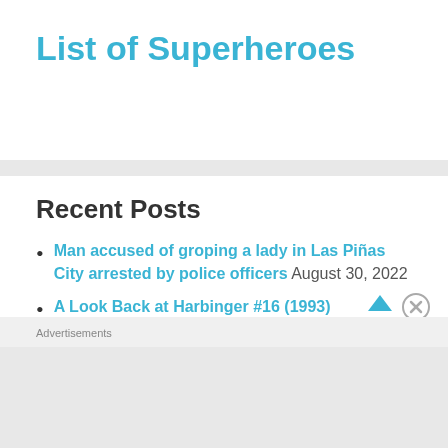List of Superheroes
Recent Posts
Man accused of groping a lady in Las Piñas City arrested by police officers August 30, 2022
A Look Back at Harbinger #16 (1993)
Advertisements